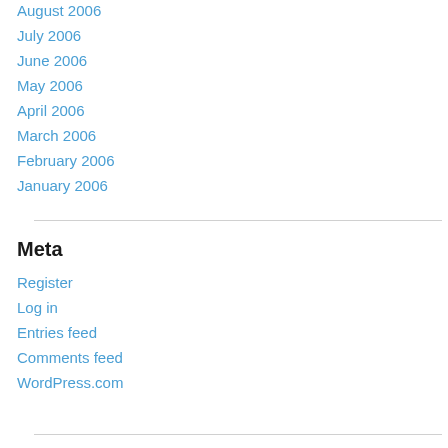August 2006
July 2006
June 2006
May 2006
April 2006
March 2006
February 2006
January 2006
Meta
Register
Log in
Entries feed
Comments feed
WordPress.com